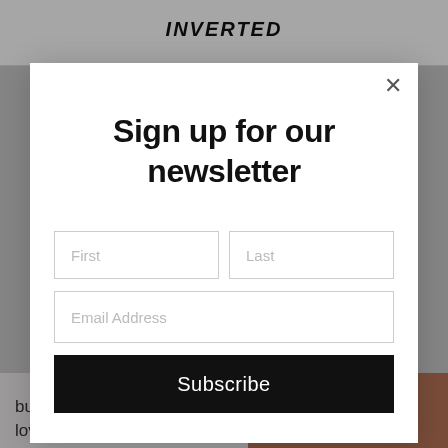INVERTED
Sign up for our newsletter
First
Last
Email Address
Subscribe
bunch of lovers of